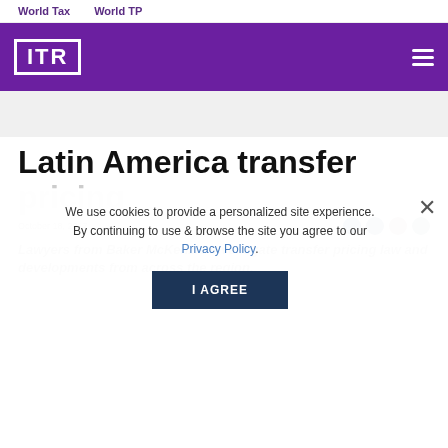World Tax    World TP
[Figure (logo): ITR logo in white on purple header bar with hamburger menu icon]
Latin America transfer pricing
October 18, 2017
Lawyers from Baker McKenzie investigate transfer pricing law and developments from across the region.
We use cookies to provide a personalized site experience. By continuing to use & browse the site you agree to our Privacy Policy.
I AGREE